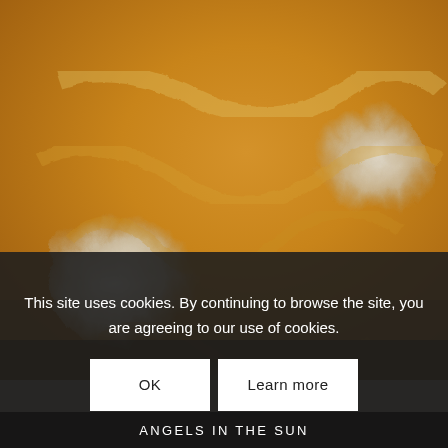[Figure (illustration): Abstract painting with swirling golden/amber and white/pale blue brushstrokes, resembling angels or figures in the sun. Textured impasto-style oil painting with warm golden tones and cool white highlights.]
This site uses cookies. By continuing to browse the site, you are agreeing to our use of cookies.
OK   Learn more
ANGELS IN THE SUN